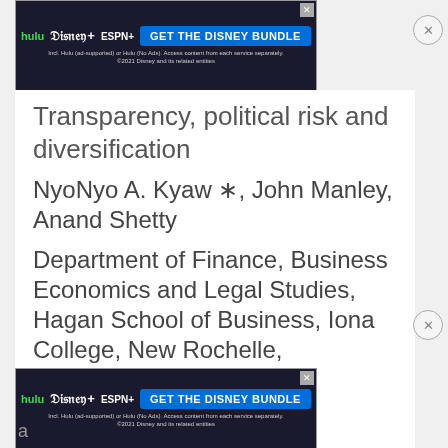[Figure (screenshot): Hulu Disney+ ESPN+ 'GET THE DISNEY BUNDLE' advertisement banner at top of page]
Transparency, political risk and diversification
NyoNyo A. Kyaw *, John Manley, Anand Shetty
Department of Finance, Business Economics and Legal Studies, Hagan School of Business, Iona College, New Rochelle, NY 10801, United States
[Figure (screenshot): Hulu Disney+ ESPN+ 'GET THE DISNEY BUNDLE' advertisement banner at bottom of page]